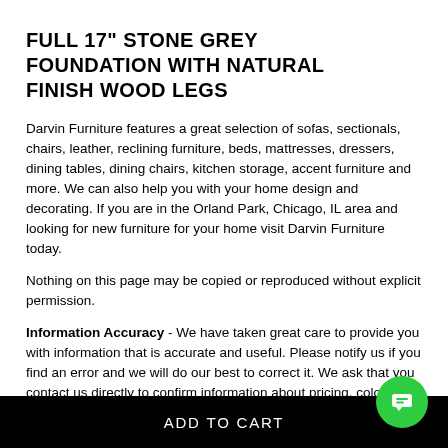FULL 17" STONE GREY FOUNDATION WITH NATURAL FINISH WOOD LEGS
Darvin Furniture features a great selection of sofas, sectionals, chairs, leather, reclining furniture, beds, mattresses, dressers, dining tables, dining chairs, kitchen storage, accent furniture and more. We can also help you with your home design and decorating. If you are in the Orland Park, Chicago, IL area and looking for new furniture for your home visit Darvin Furniture today.
Nothing on this page may be copied or reproduced without explicit permission.
Information Accuracy - We have taken great care to provide you with information that is accurate and useful. Please notify us if you find an error and we will do our best to correct it. We ask that you contact us directly to confirm information about pricing, color, features, dimensions, availability and lead times.
ADD TO CART